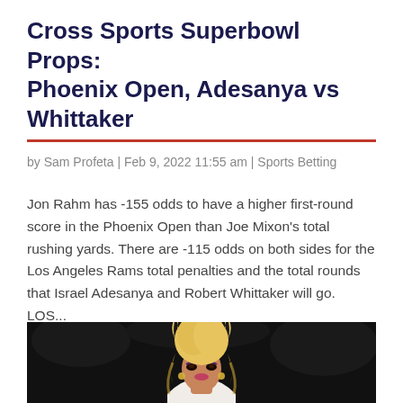Cross Sports Superbowl Props: Phoenix Open, Adesanya vs Whittaker
by Sam Profeta | Feb 9, 2022 11:55 am | Sports Betting
Jon Rahm has -155 odds to have a higher first-round score in the Phoenix Open than Joe Mixon's total rushing yards. There are -115 odds on both sides for the Los Angeles Rams total penalties and the total rounds that Israel Adesanya and Robert Whittaker will go. LOS...
[Figure (photo): Woman with long blonde curly hair wearing white outfit, photographed against dark background]